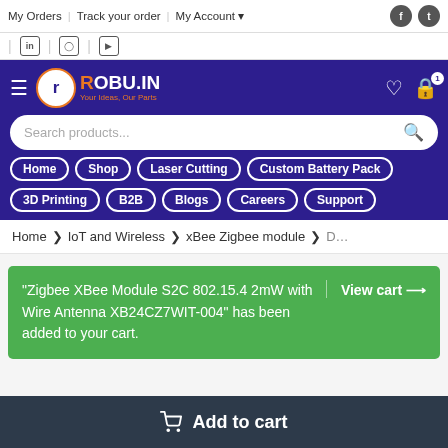My Orders | Track your order | My Account ▾
LinkedIn | Instagram | YouTube
ROBU.IN — Your Ideas, Our Parts — navigation: Home, Shop, Laser Cutting, Custom Battery Pack, 3D Printing, B2B, Blogs, Careers, Support
Home › IoT and Wireless › xBee Zigbee module › D…
"Zigbee XBee Module S2C 802.15.4 2mW with Wire Antenna XB24CZ7WIT-004" has been added to your cart.
View cart →
Add to cart